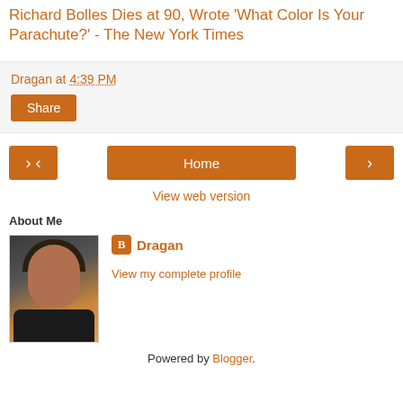Richard Bolles Dies at 90, Wrote 'What Color Is Your Parachute?' - The New York Times
Dragan at 4:39 PM
Share
[Figure (screenshot): Navigation buttons: left arrow, Home button, right arrow]
View web version
About Me
[Figure (photo): Profile photo of a man with dark hair against a sunset/orange background]
Dragan
View my complete profile
Powered by Blogger.